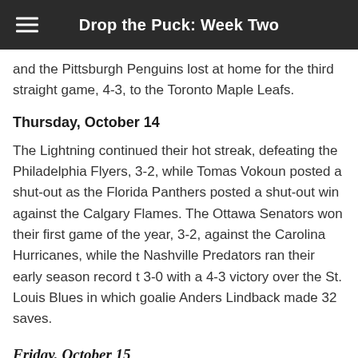Drop the Puck: Week Two
and the Pittsburgh Penguins lost at home for the third straight game, 4-3, to the Toronto Maple Leafs.
Thursday, October 14
The Lightning continued their hot streak, defeating the Philadelphia Flyers, 3-2, while Tomas Vokoun posted a shut-out as the Florida Panthers posted a shut-out win against the Calgary Flames. The Ottawa Senators won their first game of the year, 3-2, against the Carolina Hurricanes, while the Nashville Predators ran their early season record t 3-0 with a 4-3 victory over the St. Louis Blues in which goalie Anders Lindback made 32 saves.
Friday, October 15
The NHL had a full slate of games on
[Figure (photo): A hockey goalie wearing a blue and gold helmet and mask, visible from the shoulders up, in front of a net during a game.]